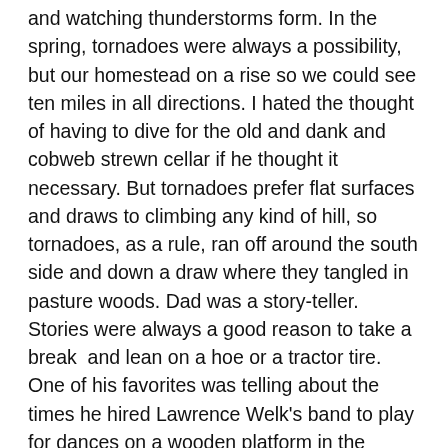and watching thunderstorms form. In the spring, tornadoes were always a possibility, but our homestead on a rise so we could see ten miles in all directions. I hated the thought of having to dive for the old and dank and cobweb strewn cellar if he thought it necessary. But tornadoes prefer flat surfaces and draws to climbing any kind of hill, so tornadoes, as a rule, ran off around the south side and down a draw where they tangled in pasture woods. Dad was a story-teller. Stories were always a good reason to take a break  and lean on a hoe or a tractor tire. One of his favorites was telling about the times he hired Lawrence Welk's band to play for dances on a wooden platform in the pasture at the end of our lane.
Dad was my father after my first father died. He married a widow with five kids and brought us to the farm. He was short and dark, his lineage Bohemian. And he loved to